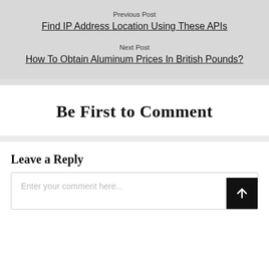Previous Post
Find IP Address Location Using These APIs
Next Post
How To Obtain Aluminum Prices In British Pounds?
Be First to Comment
Leave a Reply
Enter your comment here...